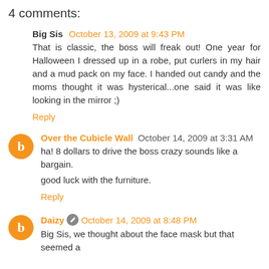4 comments:
Big Sis  October 13, 2009 at 9:43 PM
That is classic, the boss will freak out! One year for Halloween I dressed up in a robe, put curlers in my hair and a mud pack on my face. I handed out candy and the moms thought it was hysterical...one said it was like looking in the mirror ;)
Reply
Over the Cubicle Wall  October 14, 2009 at 3:31 AM
ha! 8 dollars to drive the boss crazy sounds like a bargain.

good luck with the furniture.
Reply
Daizy  October 14, 2009 at 8:48 PM
Big Sis, we thought about the face mask but that seemed a